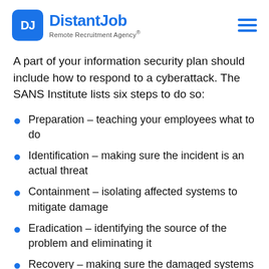DistantJob Remote Recruitment Agency®
A part of your information security plan should include how to respond to a cyberattack. The SANS Institute lists six steps to do so:
Preparation – teaching your employees what to do
Identification – making sure the incident is an actual threat
Containment – isolating affected systems to mitigate damage
Eradication – identifying the source of the problem and eliminating it
Recovery – making sure the damaged systems are